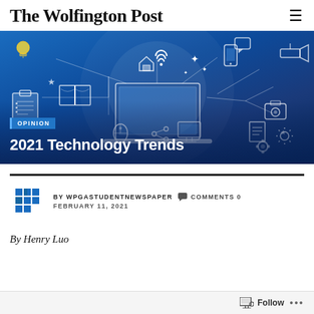The Wolfington Post
[Figure (illustration): Blue technology-themed hero banner with illustrated icons: laptop, smartphone, wifi, smart home, camera, documents, clipboard, book, mouse, gears, lightbulb, sun, security camera, speech bubble — connected by network lines on a dark blue gradient background. 'OPINION' badge overlay and article title '2021 Technology Trends' in white bold text.]
2021 Technology Trends
BY WPGASTUDENTNEWSPAPER   COMMENTS 0
FEBRUARY 11, 2021
By Henry Luo